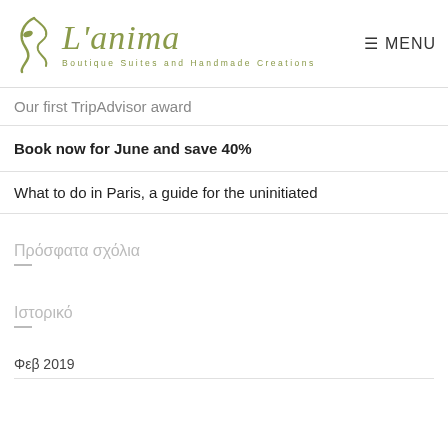L'anima Boutique Suites and Handmade Creations — MENU
Our first TripAdvisor award
Book now for June and save 40%
What to do in Paris, a guide for the uninitiated
Πρόσφατα σχόλια
Ιστορικό
Φεβ 2019